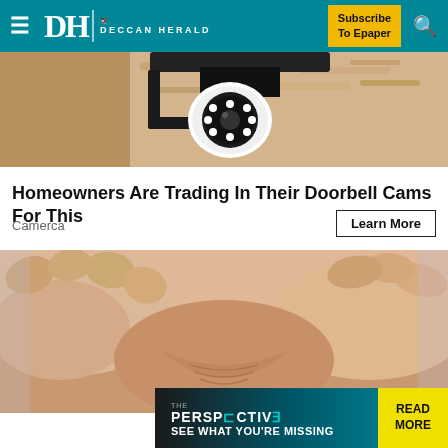DH DECCAN HERALD | Subscribe To Epaper
[Figure (photo): Security camera mounted on a wall, close-up view]
Homeowners Are Trading In Their Doorbell Cams For This
Camerca
Learn More
[Figure (photo): Close-up of hands pinching skin on an arm]
[Figure (infographic): THE PERSPECTIVE banner with text SEE WHAT YOU'RE MISSING and READ MORE button]